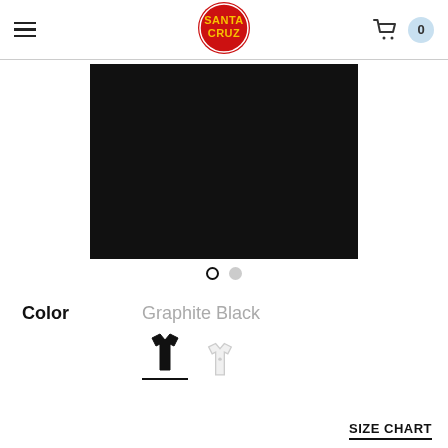Santa Cruz skate brand website header with hamburger menu, Santa Cruz logo, and cart with 0 items
[Figure (photo): Product image: black t-shirt laid flat on white background, appearing as a mostly black rectangle]
[Figure (other): Image carousel navigation dots: one filled/active dot and one empty/inactive dot]
Color
Graphite Black
[Figure (other): Two color swatches: black t-shirt (selected, with underline) and white t-shirt]
SIZE CHART